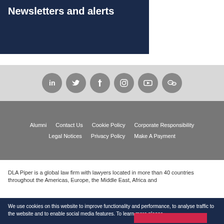Newsletters and alerts
[Figure (infographic): Row of 6 social media icons on grey background: LinkedIn, Twitter, Facebook, Instagram, YouTube, WeChat]
Alumni
Contact Us
Cookie Policy
Corporate Responsibility
Legal Notices
Privacy Policy
Make A Payment
DLA Piper is a global law firm with lawyers located in more than 40 countries throughout the Americas, Europe, the Middle East, Africa and
We use cookies on this website to improve functionality and performance, to analyse traffic to the website and to enable social media features. To learn more please